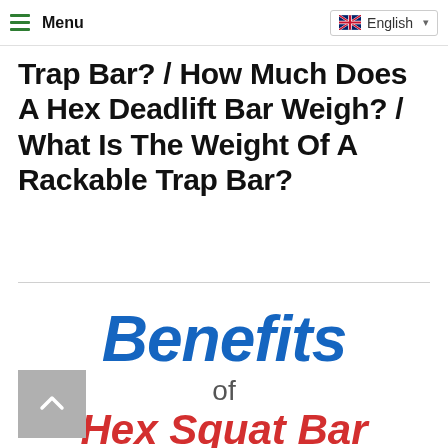Menu | English
Trap Bar? / How Much Does A Hex Deadlift Bar Weigh? / What Is The Weight Of A Rackable Trap Bar?
[Figure (infographic): Infographic showing 'Benefits of Hex Squat Bar' with 'Benefits' in large bold blue italic text, 'of' in gray, and 'Hex Squat Bar' in large bold red italic text]